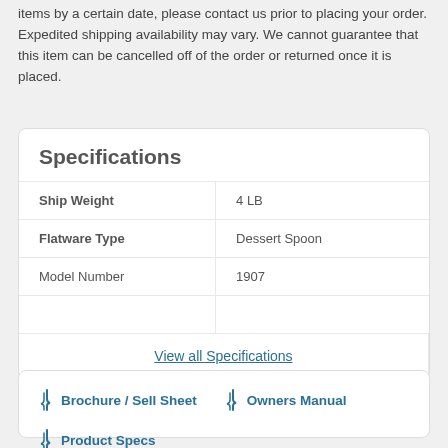items by a certain date, please contact us prior to placing your order. Expedited shipping availability may vary. We cannot guarantee that this item can be cancelled off of the order or returned once it is placed.
Specifications
|  |  |
| --- | --- |
| Ship Weight | 4 LB |
| Flatware Type | Dessert Spoon |
| Model Number | 1907 |
| [faded row] | [faded row] |
View all Specifications
Brochure / Sell Sheet
Owners Manual
Product Specs